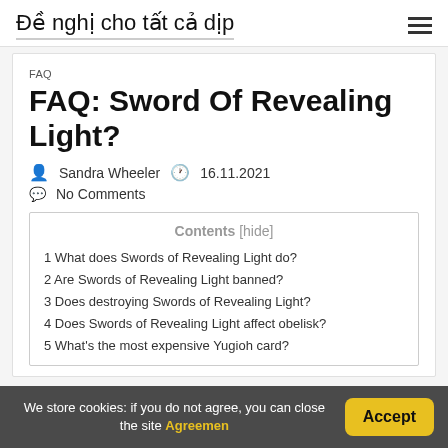Đề nghị cho tất cả dịp
FAQ
FAQ: Sword Of Revealing Light?
Sandra Wheeler  16.11.2021
No Comments
1 What does Swords of Revealing Light do?
2 Are Swords of Revealing Light banned?
3 Does destroying Swords of Revealing Light?
4 Does Swords of Revealing Light affect obelisk?
5 What's the most expensive Yugioh card?
We store cookies: if you do not agree, you can close the site Agreemen